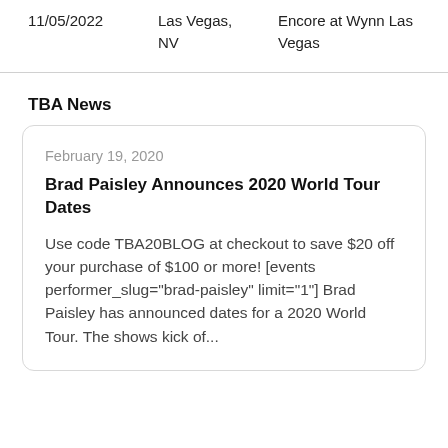| Date | City | Venue |
| --- | --- | --- |
| 11/05/2022 | Las Vegas, NV | Encore at Wynn Las Vegas |
TBA News
February 19, 2020
Brad Paisley Announces 2020 World Tour Dates
Use code TBA20BLOG at checkout to save $20 off your purchase of $100 or more! [events performer_slug="brad-paisley" limit="1"] Brad Paisley has announced dates for a 2020 World Tour. The shows kick of...